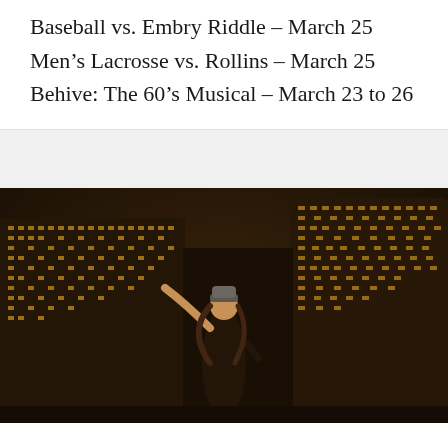Baseball vs. Embry Riddle – March 25
Men's Lacrosse vs. Rollins – March 25
Behive: The 60's Musical – March 23 to 26
[Figure (photo): A young woman with long curly hair wearing a beanie hat, arms raised, posing in front of illuminated skyscrapers at night in a city setting.]